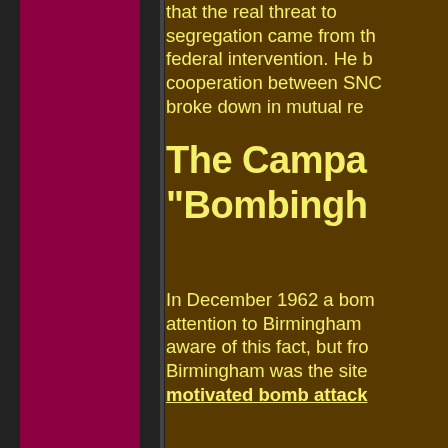that the real threat to segregation came from the federal intervention. He believed cooperation between SN... broke down in mutual re...
The Campaign in "Bombingham"
In December 1962 a bomb... attention to Birmingham... aware of this fact, but from... Birmingham was the site of motivated bomb attacks